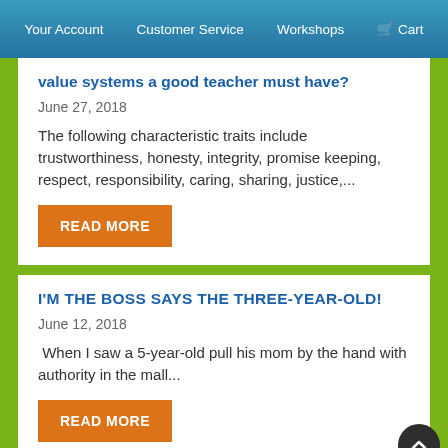Your Account   Customer Service   Workshops   Cart
value systems a good teacher must have?
June 27, 2018
The following characteristic traits include trustworthiness, honesty, integrity, promise keeping, respect, responsibility, caring, sharing, justice,...
READ MORE
I'M THE BOSS SAYS THE THREE-YEAR-OLD!
June 12, 2018
When I saw a 5-year-old pull his mom by the hand with authority in the mall...
READ MORE